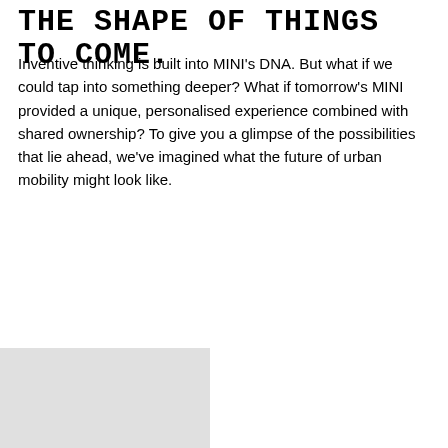THE SHAPE OF THINGS TO COME.
Inventive thinking is built into MINI's DNA. But what if we could tap into something deeper? What if tomorrow's MINI provided a unique, personalised experience combined with shared ownership? To give you a glimpse of the possibilities that lie ahead, we've imagined what the future of urban mobility might look like.
[Figure (photo): Partial grey/light image visible at bottom-left corner of the page]